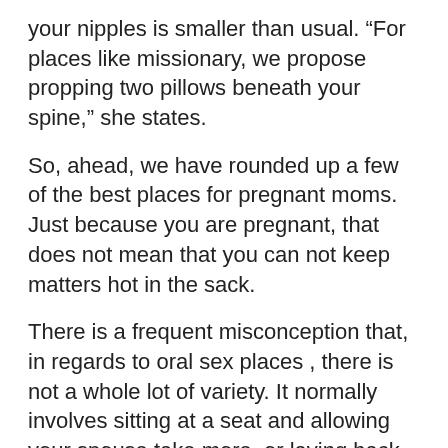your nipples is smaller than usual. “For places like missionary, we propose propping two pillows beneath your spine,” she states.
So, ahead, we have rounded up a few of the best places for pregnant moms. Just because you are pregnant, that does not mean that you can not keep matters hot in the sack.
There is a frequent misconception that, in regards to oral sex places , there is not a whole lot of variety. It normally involves sitting at a seat and allowing your spouse take more, or laying back on the mattress with your spouse positioned between your thighs. However there are really a great deal of unique places that alter how oral intercourse feels for both the giver and the recipient. And you do not need to change what you are doing so to reap the advantages of this hot act.